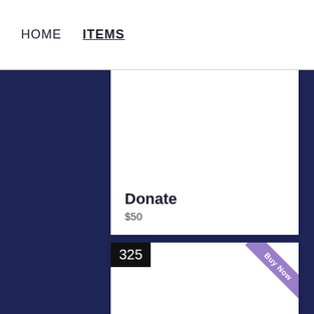HOME  ITEMS
[Figure (screenshot): White product card with title 'Donate' and price '$50' at bottom left]
Donate
$50
[Figure (screenshot): White product card with black badge '325' at top left and purple 'Buy Now' ribbon at top right]